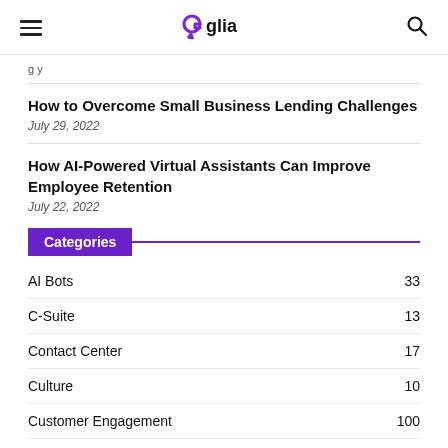Glia
How to Overcome Small Business Lending Challenges
July 29, 2022
How AI-Powered Virtual Assistants Can Improve Employee Retention
July 22, 2022
Categories
AI Bots 33
C-Suite 13
Contact Center 17
Culture 10
Customer Engagement 100